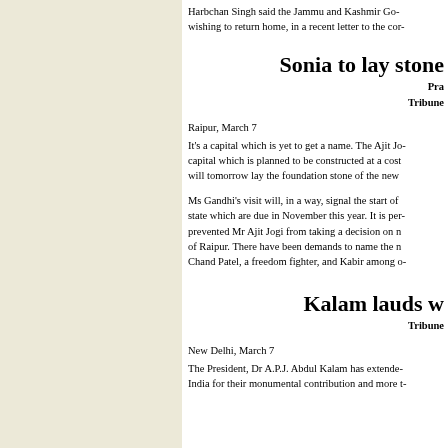Harbchan Singh said the Jammu and Kashmir Government should facilitate the return of Kashmiri Pandits wishing to return home, in a recent letter to the cor-
Sonia to lay stone
Pra
Tribune
Raipur, March 7
It's a capital which is yet to get a name. The Ajit Jogi government is planning a new capital which is planned to be constructed at a cost of Rs 1,000 crore. Congress president Sonia Gandhi will tomorrow lay the foundation stone of the new
Ms Gandhi's visit will, in a way, signal the start of election campaign in the state which are due in November this year. It is perceived that uncertainty has prevented Mr Ajit Jogi from taking a decision on naming the capital located south of Raipur. There have been demands to name the new capital after Bhanu Pratap, Chand Patel, a freedom fighter, and Kabir among o-
Kalam lauds w
Tribune
New Delhi, March 7
The President, Dr A.P.J. Abdul Kalam has extended his greetings to the people of India for their monumental contribution and more t-